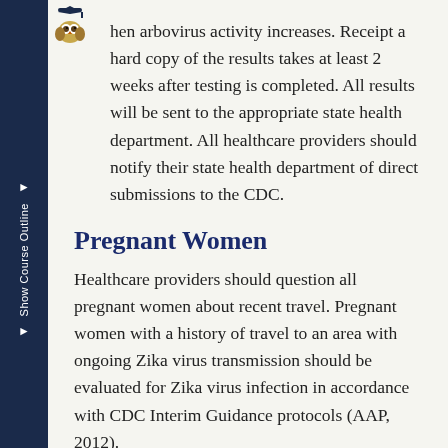hen arbovirus activity increases. Receipt a hard copy of the results takes at least 2 weeks after testing is completed. All results will be sent to the appropriate state health department. All healthcare providers should notify their state health department of direct submissions to the CDC.
Pregnant Women
Healthcare providers should question all pregnant women about recent travel. Pregnant women with a history of travel to an area with ongoing Zika virus transmission should be evaluated for Zika virus infection in accordance with CDC Interim Guidance protocols (AAP, 2012).